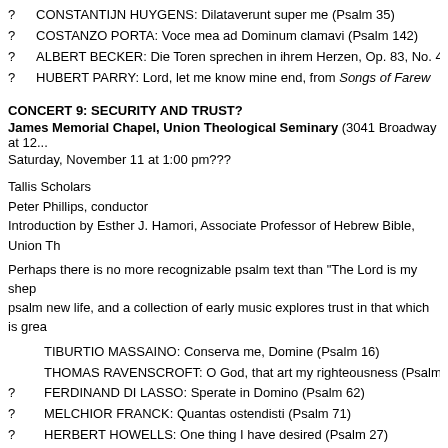? CONSTANTIJN HUYGENS: Dilataverunt super me (Psalm 35)
? COSTANZO PORTA: Voce mea ad Dominum clamavi (Psalm 142)
? ALBERT BECKER: Die Toren sprechen in ihrem Herzen, Op. 83, No. 4
? HUBERT PARRY: Lord, let me know mine end, from Songs of Farewell
CONCERT 9: SECURITY AND TRUST?
James Memorial Chapel, Union Theological Seminary (3041 Broadway at 12...
Saturday, November 11 at 1:00 pm???
Tallis Scholars
Peter Phillips, conductor
Introduction by Esther J. Hamori, Associate Professor of Hebrew Bible, Union Th...
Perhaps there is no more recognizable psalm text than "The Lord is my shep... psalm new life, and a collection of early music explores trust in that which is grea...
TIBURTIO MASSAINO: Conserva me, Domine (Psalm 16)
THOMAS RAVENSCROFT: O God, that art my righteousness (Psalm 4)
? FERDINAND DI LASSO: Sperate in Domino (Psalm 62)
? MELCHIOR FRANCK: Quantas ostendisti (Psalm 71)
? HERBERT HOWELLS: One thing I have desired (Psalm 27)
? MARCIN LEOPOLITA: Mihi autem (Psalm 139)
? GIOVANNI CROCE: Miserere mei (Psalm 51)
PAUL SCHOENFELD: Hateih hashem (Psalm 86)